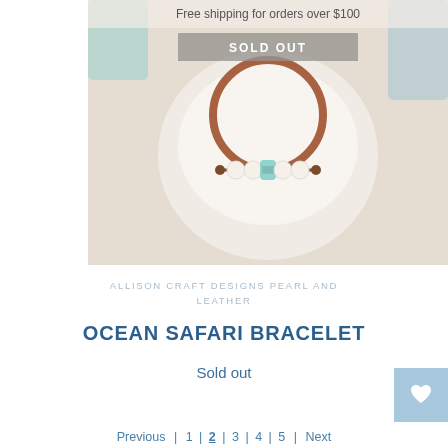[Figure (photo): Product photo of a bracelet made with copper wire, freshwater pearls, and a teal sea glass bead, displayed on a white stone/ceramic display stand against a light background. Overlaid text says 'Free shipping for orders over $100' at the top and 'SOLD OUT' banner in the middle.]
ALLISON CRAFT DESIGNS PEARL AND LEATHER
OCEAN SAFARI BRACELET
Sold out
Previous  1  2  3  4  5  Next